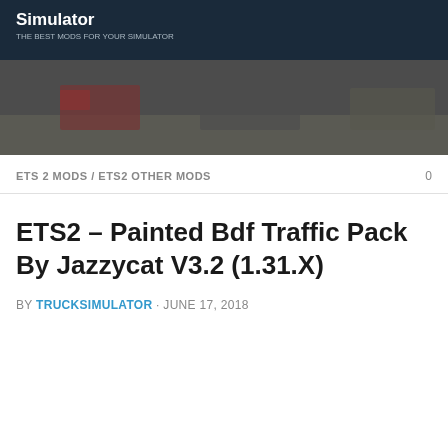Simulator
[Figure (photo): Banner image showing trucks on a road, dark/muted tones]
ETS 2 MODS / ETS2 OTHER MODS    0
ETS2 – Painted Bdf Traffic Pack By Jazzycat V3.2 (1.31.X)
BY TRUCKSIMULATOR · JUNE 17, 2018